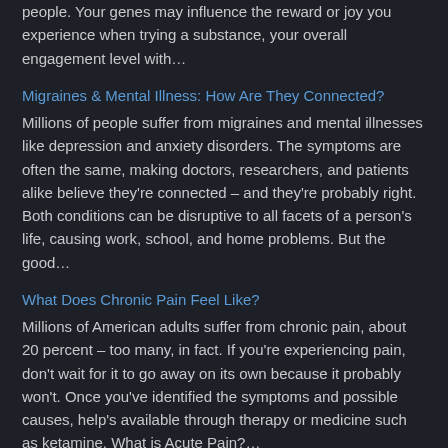people. Your genes may influence the reward or joy you experience when trying a substance, your overall engagement level with…
Migraines & Mental Illness: How Are They Connected?
Millions of people suffer from migraines and mental illnesses like depression and anxiety disorders. The symptoms are often the same, making doctors, researchers, and patients alike believe they're connected – and they're probably right. Both conditions can be disruptive to all facets of a person's life, causing work, school, and home problems. But the good…
What Does Chronic Pain Feel Like?
Millions of American adults suffer from chronic pain, about 20 percent – too many, in fact. If you're experiencing pain, don't wait for it to go away on its own because it probably won't. Once you've identified the symptoms and possible causes, help's available through therapy or medicine such as ketamine. What is Acute Pain?…
What Happens When PTSD is Triggered?
If you're a military veteran or someone who survived a trauma…